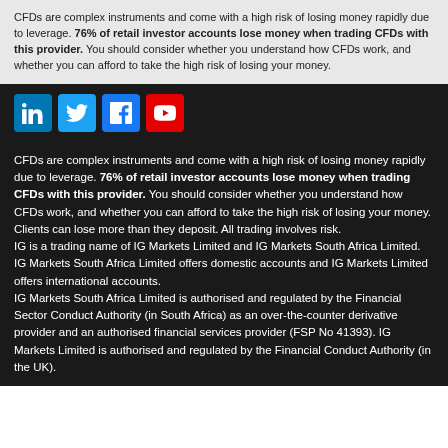CFDs are complex instruments and come with a high risk of losing money rapidly due to leverage. 76% of retail investor accounts lose money when trading CFDs with this provider. You should consider whether you understand how CFDs work, and whether you can afford to take the high risk of losing your money.
[Figure (other): Social media icons: LinkedIn, Twitter, Facebook, YouTube]
CFDs are complex instruments and come with a high risk of losing money rapidly due to leverage. 76% of retail investor accounts lose money when trading CFDs with this provider. You should consider whether you understand how CFDs work, and whether you can afford to take the high risk of losing your money. Clients can lose more than they deposit. All trading involves risk.
IG is a trading name of IG Markets Limited and IG Markets South Africa Limited. IG Markets South Africa Limited offers domestic accounts and IG Markets Limited offers international accounts.
IG Markets South Africa Limited is authorised and regulated by the Financial Sector Conduct Authority (in South Africa) as an over-the-counter derivative provider and an authorised financial services provider (FSP No 41393). IG Markets Limited is authorised and regulated by the Financial Conduct Authority (in the UK).